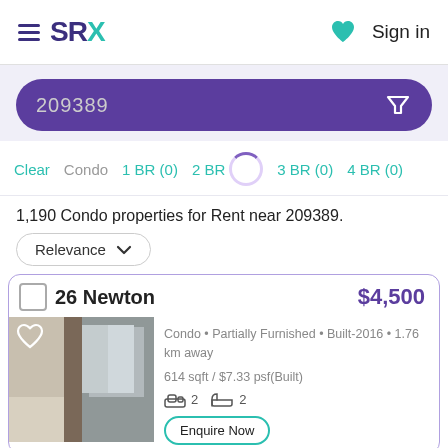SRX  Sign in
209389
Clear  Condo  1 BR (0)  2 BR  3 BR (0)  4 BR (0)
1,190 Condo properties for Rent near 209389.
Relevance
26 Newton  $4,500
[Figure (photo): Interior room photo of a condo unit at 26 Newton]
Condo • Partially Furnished • Built-2016 • 1.76 km away
614 sqft / $7.33 psf(Built)
2 bedrooms  2 bathrooms
Enquire Now